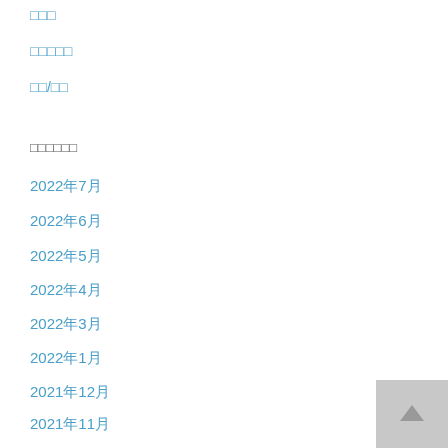□□□
□□□□□
□□/□□
□□□□□□
2022年7月
2022年6月
2022年5月
2022年4月
2022年3月
2022年1月
2021年12月
2021年11月
2021年10月
2021年9月